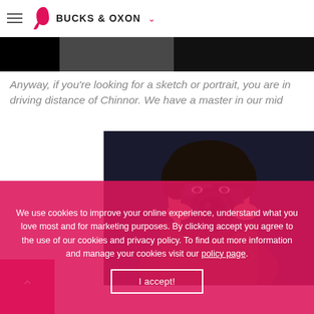BUCKS & OXON
[Figure (photo): Black banner image strip at top of page, partially showing a dark background image]
Anyway, if you're looking for a sketch or portrait, you are in driving distance of Chinnor. We have a master in our mid
[Figure (photo): A man pointing a camera lens directly at the viewer, wearing a brown jacket, dark background]
We use cookies to improve your online experience, understand what you love most and for marketing purposes. By clicking accept you agree to the use of our cookies and privacy policy. To find out more information and manage your cookies visit our policy page.
I accept!